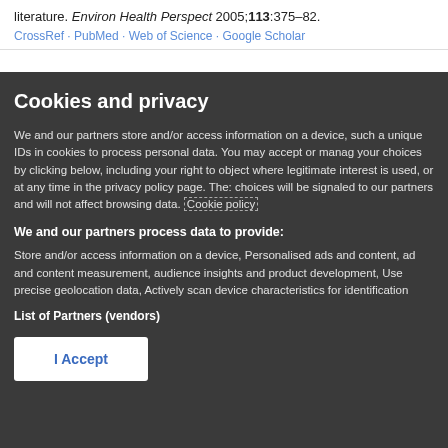literature. Environ Health Perspect 2005;113:375–82.
CrossRef · PubMed · Web of Science · Google Scholar
Cookies and privacy
We and our partners store and/or access information on a device, such as unique IDs in cookies to process personal data. You may accept or manage your choices by clicking below, including your right to object where legitimate interest is used, or at any time in the privacy policy page. These choices will be signaled to our partners and will not affect browsing data. Cookie policy
We and our partners process data to provide:
Store and/or access information on a device, Personalised ads and content, ad and content measurement, audience insights and product development, Use precise geolocation data, Actively scan device characteristics for identification
List of Partners (vendors)
I Accept